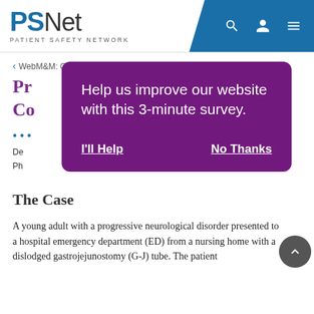PSNet - PATIENT SAFETY NETWORK
< WebM&M: Case Studies
Pr...
Co...
•••
De...
Ph...
[Figure (screenshot): Purple modal popup with text: 'Help us improve our website with this 3-minute survey.' and two underlined white links: 'I'll Help' and 'No Thanks']
The Case
A young adult with a progressive neurological disorder presented to a hospital emergency department (ED) from a nursing home with a dislodged gastrojejunostomy (G-J) tube. The patient